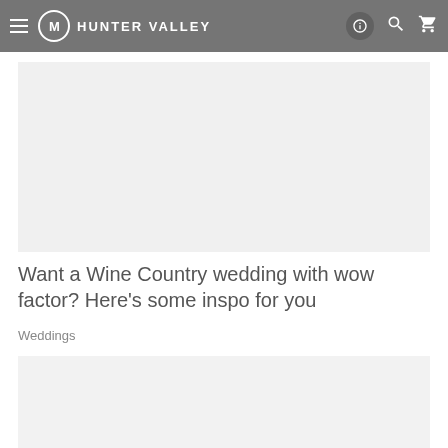HUNTER VALLEY
[Figure (photo): Light gray placeholder image for article thumbnail]
Want a Wine Country wedding with wow factor? Here’s some inspo for you
Weddings
[Figure (photo): Light gray placeholder image for second article thumbnail]